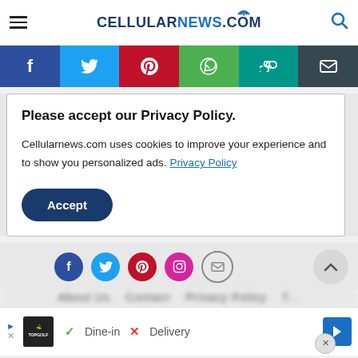CELLULARNEWS.COM
[Figure (screenshot): Social sharing bar with Facebook, Twitter, Pinterest, WhatsApp, link, and email icons]
Please accept our Privacy Policy.
Cellularnews.com uses cookies to improve your experience and to show you personalized ads. Privacy Policy
Accept
[Figure (screenshot): Bottom social media icons: Facebook, Twitter, Pinterest, Instagram, Email, and scroll-to-top button]
About Us  Contact  Privacy Policy  T...
[Figure (screenshot): Advertisement banner for TopGolf showing Dine-in and Delivery options]